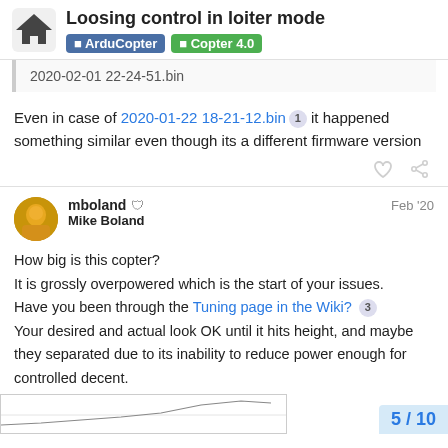Loosing control in loiter mode | ArduCopter | Copter 4.0
2020-02-01 22-24-51.bin
Even in case of 2020-01-22 18-21-12.bin it happened something similar even though its a different firmware version
mboland Mike Boland Feb '20
How big is this copter?
It is grossly overpowered which is the start of your issues.
Have you been through the Tuning page in the Wiki?
Your desired and actual look OK until it hits height, and maybe they separated due to its inability to reduce power enough for controlled decent.
5 / 10